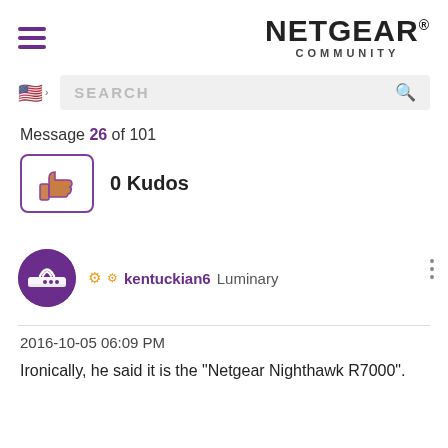NETGEAR® COMMUNITY
Message 26 of 101
[Figure (infographic): Thumbs up kudos button with 0 Kudos label]
kentuckian6 Luminary
2016-10-05 06:09 PM
Ironically, he said it is the "Netgear Nighthawk R7000".